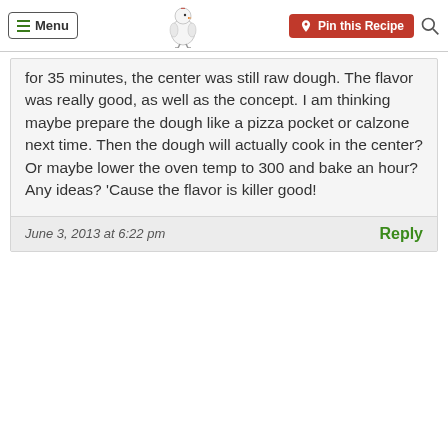Menu | [chicken logo] | Pin this Recipe | [search]
for 35 minutes, the center was still raw dough. The flavor was really good, as well as the concept. I am thinking maybe prepare the dough like a pizza pocket or calzone next time. Then the dough will actually cook in the center? Or maybe lower the oven temp to 300 and bake an hour? Any ideas? 'Cause the flavor is killer good!
June 3, 2013 at 6:22 pm
Reply